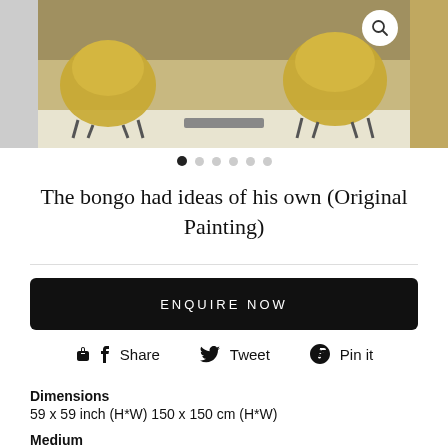[Figure (photo): Interior room photo showing two yellow/mustard-colored chairs around a coffee table, with a search icon button overlay. Partial images visible on left and right edges.]
● ○ ○ ○ ○ ○ (carousel dots)
The bongo had ideas of his own (Original Painting)
ENQUIRE NOW
Share   Tweet   Pin it
Dimensions
59 x 59 inch (H*W) 150 x 150 cm (H*W)
Medium
Enamel and Oil Pastel on Canvas